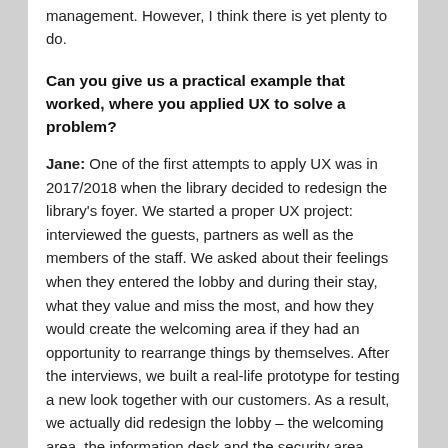management. However, I think there is yet plenty to do.
Can you give us a practical example that worked, where you applied UX to solve a problem?
Jane: One of the first attempts to apply UX was in 2017/2018 when the library decided to redesign the library's foyer. We started a proper UX project: interviewed the guests, partners as well as the members of the staff. We asked about their feelings when they entered the lobby and during their stay, what they value and miss the most, and how they would create the welcoming area if they had an opportunity to rearrange things by themselves. After the interviews, we built a real-life prototype for testing a new look together with our customers. As a result, we actually did redesign the lobby – the welcoming area, the information desk and the security area, they all found a new place and role. Yet it is important to mention that during the testing it became evident that the most popular solution to welcome our clients did not work out though. The constructional peculiarities of the library building have led to our staff